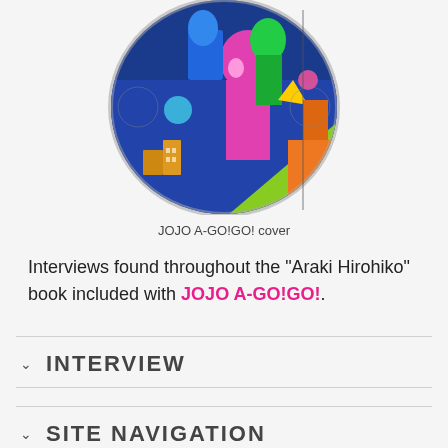[Figure (illustration): Circular colorful manga/anime cover art for JOJO A-GO!GO! featuring characters in bright pink, blue, and green colors arranged in a dynamic composition]
JOJO A-GO!GO! cover
Interviews found throughout the "Araki Hirohiko" book included with JOJO A-GO!GO!.
INTERVIEW
SITE NAVIGATION